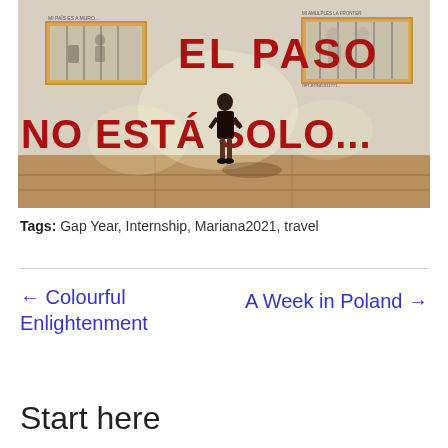[Figure (photo): A woman in a black dress standing in front of a white wall with red graffiti text reading 'EL PASO' and 'NO ESTÁ SOLO...' Two framed artworks or windows are visible on the wall. The ground is a paved sidewalk.]
Tags: Gap Year, Internship, Mariana2021, travel
← Colourful Enlightenment
A Week in Poland →
Start here